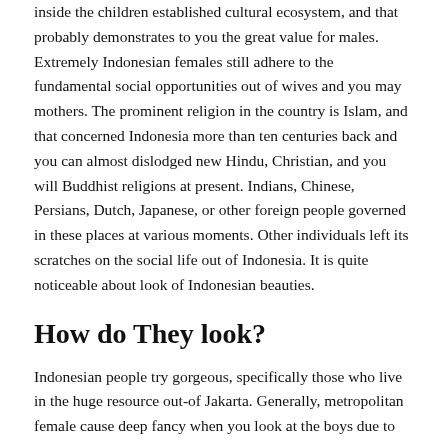inside the children established cultural ecosystem, and that probably demonstrates to you the great value for males. Extremely Indonesian females still adhere to the fundamental social opportunities out of wives and you may mothers. The prominent religion in the country is Islam, and that concerned Indonesia more than ten centuries back and you can almost dislodged new Hindu, Christian, and you will Buddhist religions at present. Indians, Chinese, Persians, Dutch, Japanese, or other foreign people governed in these places at various moments. Other individuals left its scratches on the social life out of Indonesia. It is quite noticeable about look of Indonesian beauties.
How do They look?
Indonesian people try gorgeous, specifically those who live in the huge resource out-of Jakarta. Generally, metropolitan female cause deep fancy when you look at the boys due to